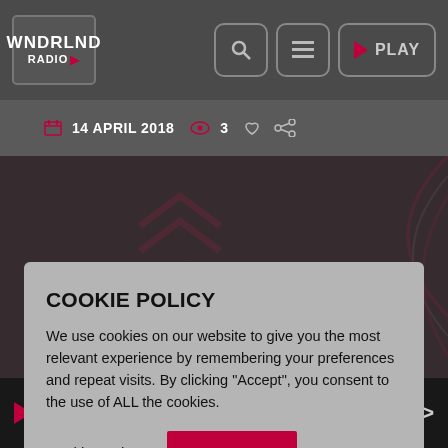WNDRLND RADIO — header with logo, search, menu, and PLAY buttons
14 APRIL 2018   3
COOKIE POLICY
We use cookies on our website to give you the most relevant experience by remembering your preferences and repeat visits. By clicking "Accept", you consent to the use of ALL the cookies.
Cookie settings   ACCEPT
[Figure (screenshot): Dark background image with red chevron arrows and curved red arc decoration]
WNDRLND Radio  WNDRLND Radio